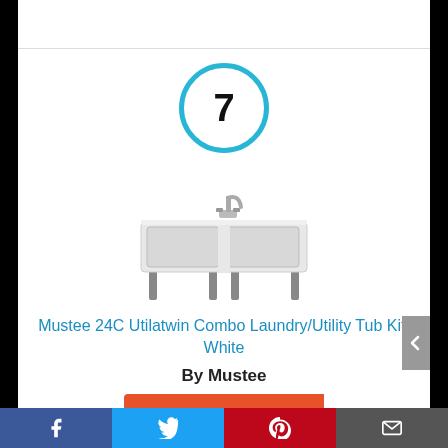[Figure (other): Number 7 in a blue circle badge]
[Figure (photo): White double utility laundry tub/sink with metal legs and faucet]
Mustee 24C Utilatwin Combo Laundry/Utility Tub Kit, White
By Mustee
View Product
Facebook | Twitter | Pinterest | Email